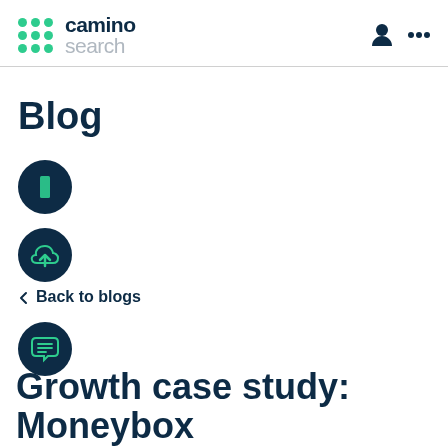camino search
Blog
[Figure (logo): Dark teal circle with a white rectangle icon]
[Figure (logo): Dark teal circle with a green upload/cloud icon]
Back to blogs
[Figure (logo): Dark teal circle with a green chat/document icon]
Growth case study: Moneybox